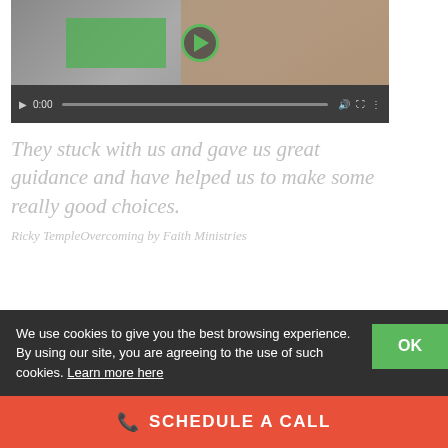[Figure (screenshot): Video player showing a smiling person on the phone, with dark controls bar showing 0:00 timestamp, play button overlay with green circle]
They stuck with us and gave us great guidance and have helped us to make some really good choices.
Ricky TempleOvercoming by Faith Ministries
We use cookies to give you the best browsing experience. By using our site, you are agreeing to the use of such cookies. Learn more here
OK
☎ SCHEDULE A CALL